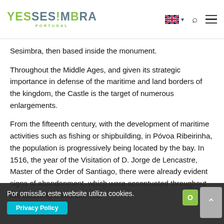YES SESIMBRA PORTUGAL
Sesimbra, then based inside the monument.
Throughout the Middle Ages, and given its strategic importance in defense of the maritime and land borders of the kingdom, the Castle is the target of numerous enlargements.
From the fifteenth century, with the development of maritime activities such as fishing or shipbuilding, in Póvoa Ribeirinha, the population is progressively being located by the bay. In 1516, the year of the Visitation of D. Jorge de Lencastre, Master of the Order of Santiago, there were already evident signs of abandonment, which were accentuated throughout the following centuries. The
Por omissão este website utiliza cookies.
Privacy Policy